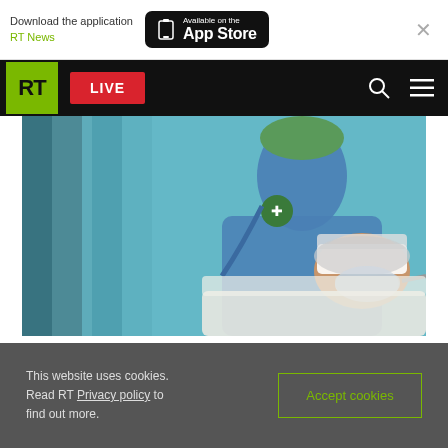Download the application RT News — Available on the App Store
[Figure (screenshot): RT News website navigation bar with green RT logo, red LIVE button, search and menu icons]
[Figure (photo): Medical scene showing a doctor in blue scrubs and green cap leaning over a patient with head bandaged and oxygen mask, in a hospital or emergency room setting]
'Bloody' protesters turn Apple Store into ER ward (VIDEO)
This website uses cookies. Read RT Privacy policy to find out more.
Accept cookies